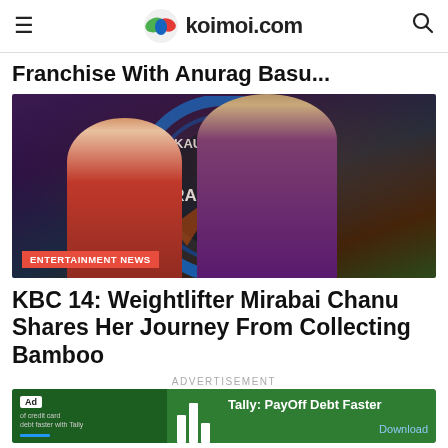koimoi.com
Franchise With Anurag Basu...
[Figure (photo): Photo of a young woman in a red saree and Amitabh Bachchan in a maroon suit standing in front of a KBC (Kaun Banega Crorepati) logo backdrop with a circular blue and orange design.]
ENTERTAINMENT NEWS
KBC 14: Weightlifter Mirabai Chanu Shares Her Journey From Collecting Bamboo
ADVERTISEMENT
[Figure (screenshot): Advertisement banner for Tally: PayOff Debt Faster with green background, Ad label, bar chart icon, and Download button.]